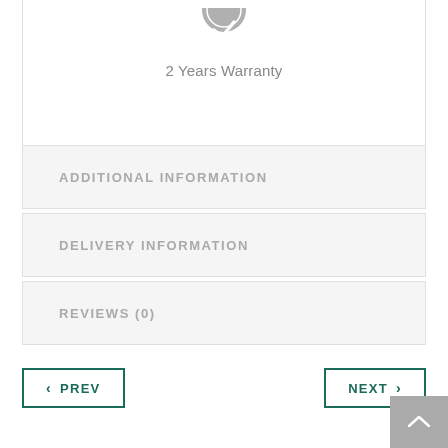[Figure (illustration): Warranty shield/badge icon in gray, partially visible at top]
2 Years Warranty
ADDITIONAL INFORMATION
DELIVERY INFORMATION
REVIEWS (0)
< PREV
NEXT >